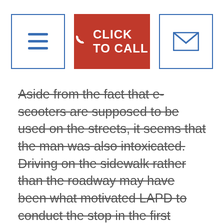CLICK TO CALL
Aside from the fact that e-scooters are supposed to be used on the streets, it seems that the man was also intoxicated. Driving on the sidewalk rather than the roadway may have been what motivated LAPD to conduct the stop in the first place.
Police report that the suspect smelled of alcohol and failed a field sobriety test. He refused a breathalyzer and was arrested on suspicion of DUI.
The Santa Monica e-scooter share company called Bird rents out e-scooters for a fee. However, the user agreement that people agree to abide by in the rental states that they will not operate the e-scooter